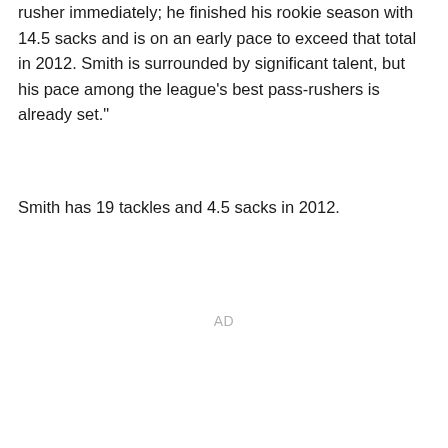rusher immediately; he finished his rookie season with 14.5 sacks and is on an early pace to exceed that total in 2012. Smith is surrounded by significant talent, but his pace among the league's best pass-rushers is already set."
Smith has 19 tackles and 4.5 sacks in 2012.
AD